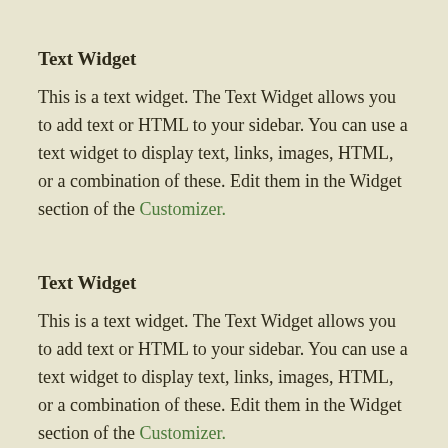Text Widget
This is a text widget. The Text Widget allows you to add text or HTML to your sidebar. You can use a text widget to display text, links, images, HTML, or a combination of these. Edit them in the Widget section of the Customizer.
Text Widget
This is a text widget. The Text Widget allows you to add text or HTML to your sidebar. You can use a text widget to display text, links, images, HTML, or a combination of these. Edit them in the Widget section of the Customizer.